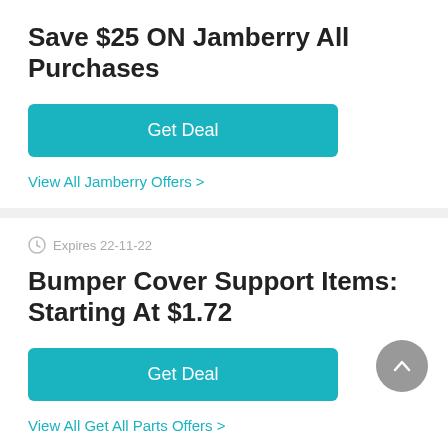Save $25 ON Jamberry All Purchases
Get Deal
View All Jamberry Offers >
Expires 22-11-22
Bumper Cover Support Items: Starting At $1.72
Get Deal
View All Get All Parts Offers >